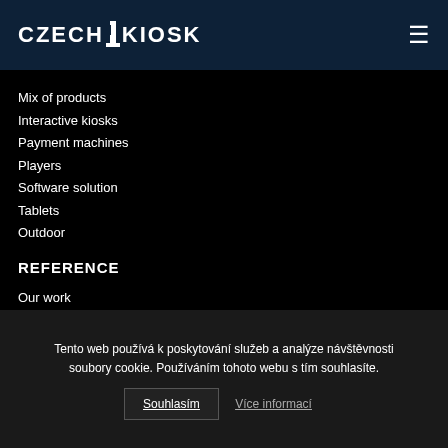CZECH KIOSK
Mix of products
Interactive kiosks
Payment machines
Players
Software solution
Tablets
Outdoor
REFERENCE
Our work
Custom software development
Digital signage
Interactive kiosks
Tento web používá k poskytování služeb a analýze návštěvnosti soubory cookie. Používáním tohoto webu s tím souhlasíte.
Souhlasím   Více informací